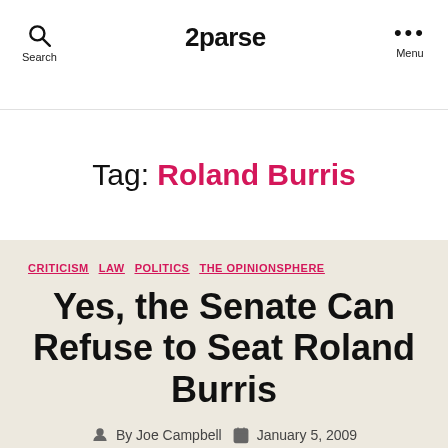2parse
Tag: Roland Burris
CRITICISM   LAW   POLITICS   THE OPINIONSPHERE
Yes, the Senate Can Refuse to Seat Roland Burris
By Joe Campbell   January 5, 2009